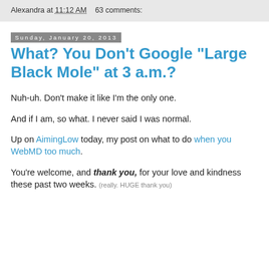Alexandra at 11:12 AM   63 comments:
Sunday, January 20, 2013
What? You Don't Google "Large Black Mole" at 3 a.m.?
Nuh-uh. Don't make it like I'm the only one.
And if I am, so what. I never said I was normal.
Up on AimingLow today, my post on what to do when you WebMD too much.
You're welcome, and thank you, for your love and kindness these past two weeks. (really. HUGE thank you)